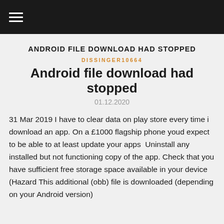ANDROID FILE DOWNLOAD HAD STOPPED
DISSINGER10664
Android file download had stopped
01.12.2020
31 Mar 2019 I have to clear data on play store every time i download an app. On a £1000 flagship phone youd expect to be able to at least update your apps  Uninstall any installed but not functioning copy of the app. Check that you have sufficient free storage space available in your device (Hazard This additional (obb) file is downloaded (depending on your Android version)